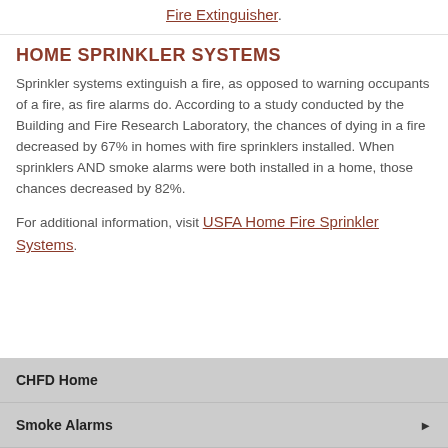Fire Extinguisher.
HOME SPRINKLER SYSTEMS
Sprinkler systems extinguish a fire, as opposed to warning occupants of a fire, as fire alarms do. According to a study conducted by the Building and Fire Research Laboratory, the chances of dying in a fire decreased by 67% in homes with fire sprinklers installed. When sprinklers AND smoke alarms were both installed in a home, those chances decreased by 82%.
For additional information, visit USFA Home Fire Sprinkler Systems.
CHFD Home
Smoke Alarms